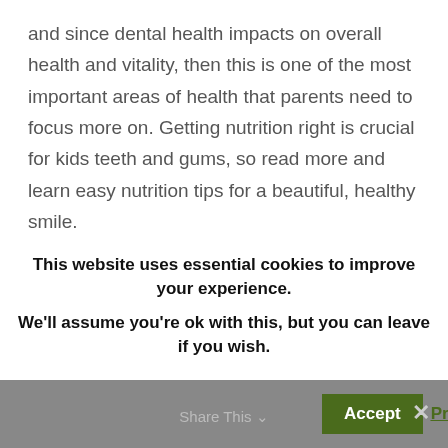and since dental health impacts on overall health and vitality, then this is one of the most important areas of health that parents need to focus more on. Getting nutrition right is crucial for kids teeth and gums, so read more and learn easy nutrition tips for a beautiful, healthy smile.
Avoid Sugary Drinks and Foods
Drinking sweet fizzy drinks and excess fruit juices is the main reason why kids of today have a mouth full of cavities and rotten teeth. Toddlers snacking on raisins and other sticky dried fruit can also be a big problem for tooth enamel. Stick
This website uses essential cookies to improve your experience.
We'll assume you're ok with this, but you can leave if you wish.
Accept  Privacy Policy  Share This  ×